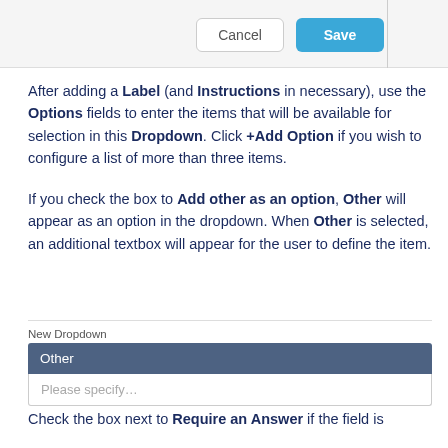[Figure (screenshot): Cancel and Save buttons in a dialog toolbar]
After adding a Label (and Instructions in necessary), use the Options fields to enter the items that will be available for selection in this Dropdown. Click +Add Option if you wish to configure a list of more than three items.
If you check the box to Add other as an option, Other will appear as an option in the dropdown. When Other is selected, an additional textbox will appear for the user to define the item.
[Figure (screenshot): New Dropdown field showing Other selected and a Please specify... text input below]
Check the box next to Require an Answer if the field is